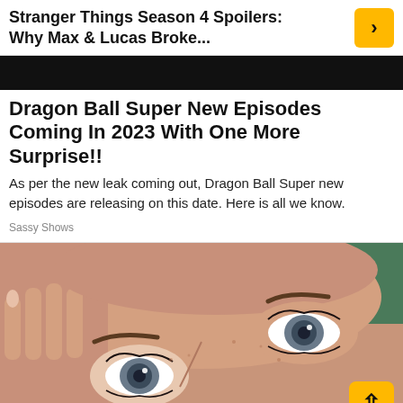Stranger Things Season 4 Spoilers: Why Max & Lucas Broke...
[Figure (photo): Dark/black image bar, partially obscured photo related to Stranger Things article]
Dragon Ball Super New Episodes Coming In 2023 With One More Surprise!!
As per the new leak coming out, Dragon Ball Super new episodes are releasing on this date. Here is all we know.
Sassy Shows
[Figure (photo): Close-up photo of a woman's face with striking blue/grey eyes, hand raised to forehead, green background visible]